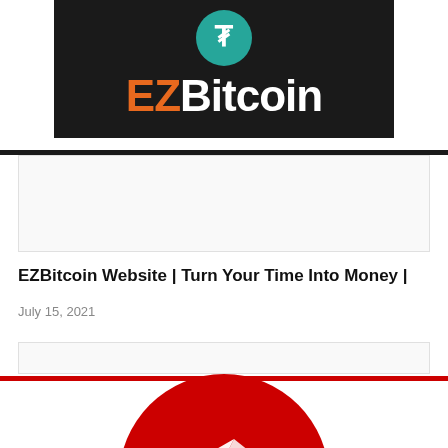[Figure (logo): EZBitcoin logo on dark background with tether (USDT) coin icon above. Orange 'EZ' and white 'Bitcoin' text.]
EZBitcoin Website | Turn Your Time Into Money |
July 15, 2021
[Figure (logo): Red circular logo with white arrow/paper plane icon, partially visible at bottom of page]